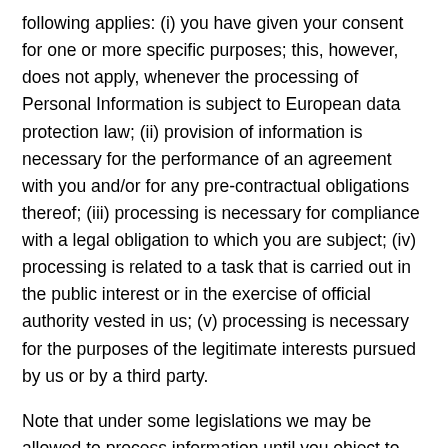following applies: (i) you have given your consent for one or more specific purposes; this, however, does not apply, whenever the processing of Personal Information is subject to European data protection law; (ii) provision of information is necessary for the performance of an agreement with you and/or for any pre-contractual obligations thereof; (iii) processing is necessary for compliance with a legal obligation to which you are subject; (iv) processing is related to a task that is carried out in the public interest or in the exercise of official authority vested in us; (v) processing is necessary for the purposes of the legitimate interests pursued by us or by a third party.
Note that under some legislations we may be allowed to process information until you object to such processing (by opting out), without having to rely on consent or any other of the following legal bases below. In any case, we will be happy to clarify the specific legal basis that applies to the processing, and in particular whether the provision of Personal Information is a statutory or contractual